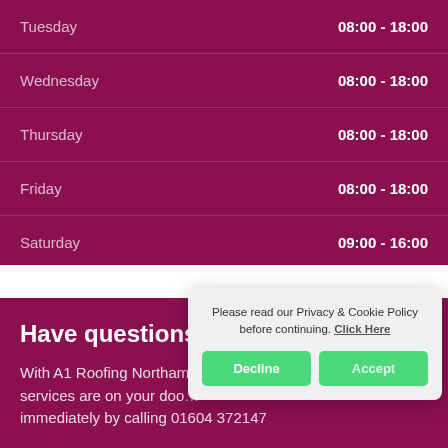| Day | Hours |
| --- | --- |
| Tuesday | 08:00 - 18:00 |
| Wednesday | 08:00 - 18:00 |
| Thursday | 08:00 - 18:00 |
| Friday | 08:00 - 18:00 |
| Saturday | 09:00 - 16:00 |
| Sunday | Closed |
Have questions ab...
With A1 Roofing Northam... services are on your doo... immediately by calling 01604 372147
Please read our Privacy & Cookie Policy before continuing. Click Here
Decline
Accept